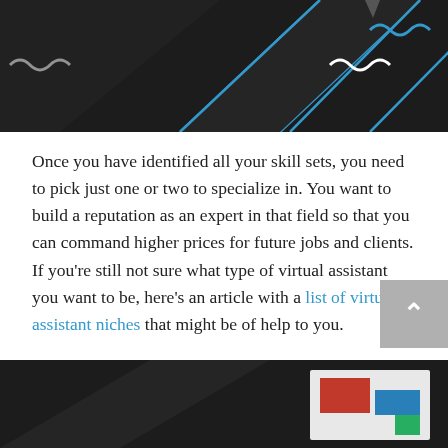[Figure (photo): Dark background decorative header image with blue and white geometric lines and wavy shapes on black background]
Once you have identified all your skill sets, you need to pick just one or two to specialize in. You want to build a reputation as an expert in that field so that you can command higher prices for future jobs and clients. If you're still not sure what type of virtual assistant you want to be, here's an article with a list of virtual assistant niches that might be of help to you.
SET UP A HOME OFFICE YOU'D LOVE TO WORK IN.
[Figure (photo): Dark background decorative image with orange and dark geometric diagonal lines, partially showing a desk with items on it]